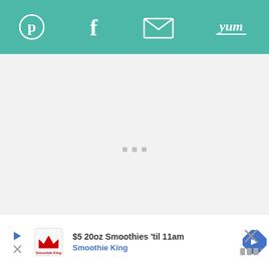[Figure (screenshot): Top navigation bar with teal/turquoise background showing social sharing icons: Pinterest (P logo), Facebook (f), Email (envelope icon), and Yum branding]
[Figure (screenshot): Main content area with light gray background showing three small gray loading dots/squares in the center]
[Figure (screenshot): Right side floating action buttons: blue circle with heart icon, white circle showing number 1, white circle with share icon]
[Figure (screenshot): Bottom advertisement bar showing Smoothie King ad: '$5 20oz Smoothies til 11am' with Smoothie King text in blue, logo on left, navigation arrow icon on right, and X close button]
[Figure (screenshot): Bottom right corner showing X close button and app branding dots]